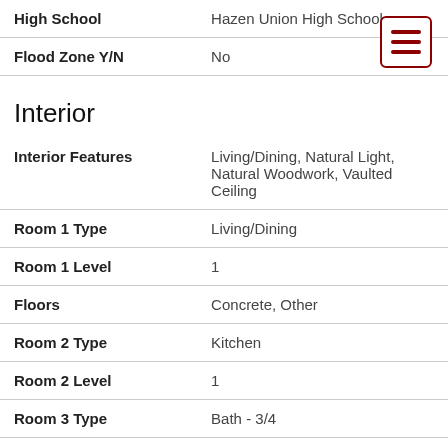| Field | Value |
| --- | --- |
| High School | Hazen Union High School |
| Flood Zone Y/N | No |
Interior
| Field | Value |
| --- | --- |
| Interior Features | Living/Dining, Natural Light, Natural Woodwork, Vaulted Ceiling |
| Room 1 Type | Living/Dining |
| Room 1 Level | 1 |
| Floors | Concrete, Other |
| Room 2 Type | Kitchen |
| Room 2 Level | 1 |
| Room 3 Type | Bath - 3/4 |